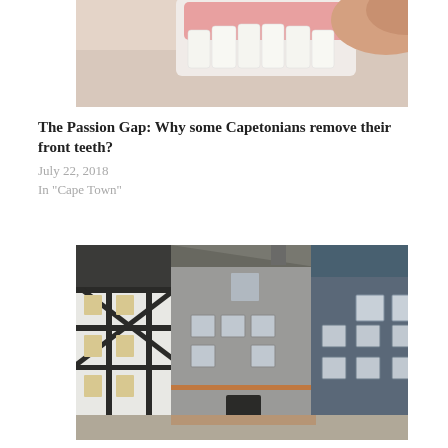[Figure (photo): Partial image of a hand holding a set of dental dentures (front teeth), shown cropped at the top of the card.]
The Passion Gap: Why some Capetonians remove their front teeth?
July 22, 2018
In "Cape Town"
[Figure (photo): Photo of traditional German half-timbered buildings and houses in a town square, featuring grey and blue coloured facades.]
Things I love about Germany
September 3, 2018